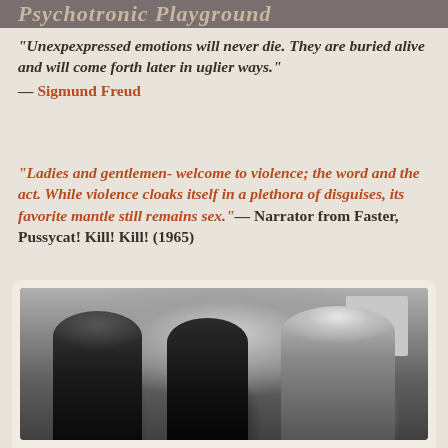Psychotronic Playground
“Unexpressed emotions will never die. They are buried alive and will come forth later in uglier ways.” — Sigmund Freud
“Ladies and gentlemen‐ welcome to violence; the word and the act. While violence cloaks itself in a plethora of disguises, its favorite mantle still remains sex.”— Narrator from Faster, Pussycat! Kill! Kill! (1965)
[Figure (photo): Black and white photograph of three women, one with dark hair on the left, one with dark hair in the middle, and one blonde on the right]